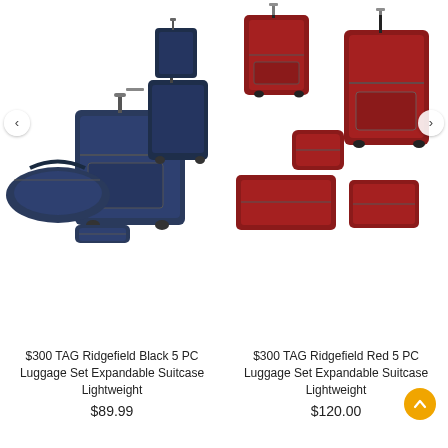[Figure (photo): Navy/black 5-piece luggage set including large suitcase, medium suitcase, small suitcase, duffel bag, and toiletry bag on white background. Left navigation arrow visible.]
[Figure (photo): Red 5-piece luggage set including large suitcase, medium suitcase, carry-on bag, duffle bag, and toiletry case on white background. Right navigation arrow visible.]
$300 TAG Ridgefield Black 5 PC Luggage Set Expandable Suitcase Lightweight
$89.99
$300 TAG Ridgefield Red 5 PC Luggage Set Expandable Suitcase Lightweight
$120.00